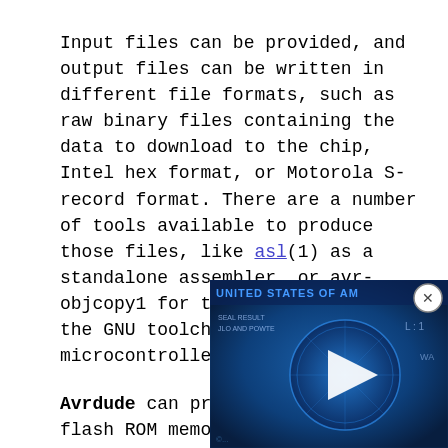Input files can be provided, and output files can be written in different file formats, such as raw binary files containing the data to download to the chip, Intel hex format, or Motorola S-record format. There are a number of tools available to produce those files, like asl(1) as a standalone assembler, or avr-objcopy1 for the final stage of the GNU toolchain for the AVR microcontroller.
Avrdude can program the EEPROM and flash ROM memory cells of supported AVR parts. Where supported by the serial instruction set, fuse bits and lock bits can b... These are implemented wi... memory types and can be ... from a file (see the -m ... terminal mode (see the ...
[Figure (screenshot): A video overlay showing a US dollar bill background in blue tones with a play button (white triangle) in the center. A close/dismiss button (circled X) appears in the top right corner. Text 'UNITED STATES OF AM...' is partially visible at the top of the overlay.]